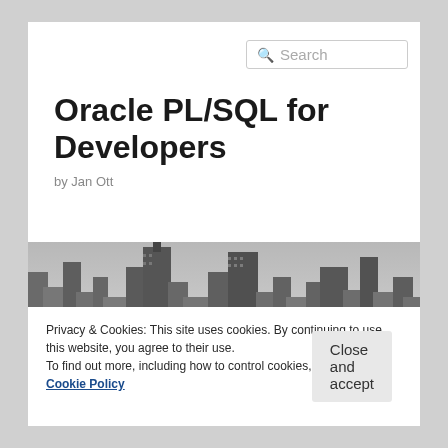[Figure (screenshot): Search box with magnifying glass icon and placeholder text 'Search']
Oracle PL/SQL for Developers
by Jan Ott
[Figure (photo): Black and white cityscape photo showing skyscrapers and city buildings]
Privacy & Cookies: This site uses cookies. By continuing to use this website, you agree to their use.
To find out more, including how to control cookies, see here: Cookie Policy
Close and accept